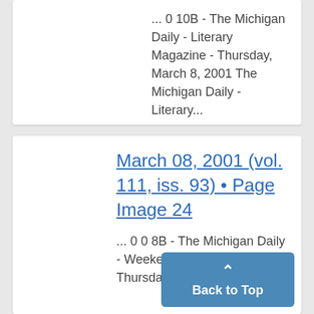... 0 10B - The Michigan Daily - Literary Magazine - Thursday, March 8, 2001 The Michigan Daily - Literary...
March 08, 2001 (vol. 111, iss. 93) • Page Image 24
... 0 0 8B - The Michigan Daily Weekend, et Magazine - Thursday, March 8...